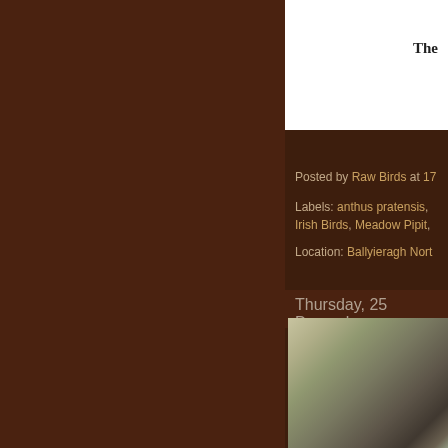The
Posted by Raw Birds at 17...
Labels: anthus pratensis, Irish Birds, Meadow Pipit,
Location: Ballyieragh Nort...
Thursday, 25 December
EUROPEAN Baltimore, C
[Figure (photo): A blurred photo of a bird, likely a pipit, with muted olive and brown tones]